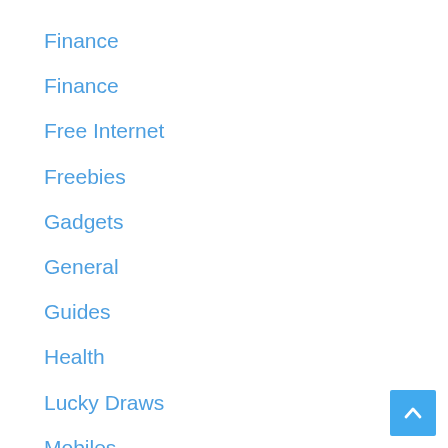Finance
Finance
Free Internet
Freebies
Gadgets
General
Guides
Health
Lucky Draws
Mobiles
Online Scripts
Other
Quiz & Answers